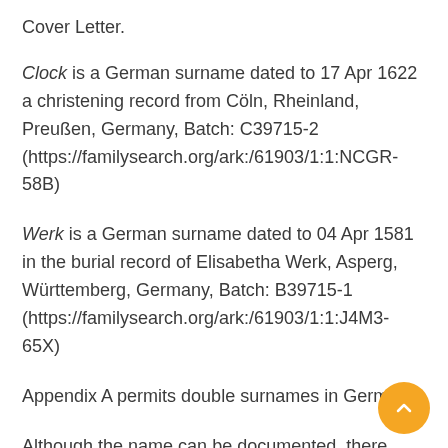Cover Letter.
Clock is a German surname dated to 17 Apr 1622 a christening record from Cöln, Rheinland, Preußen, Germany, Batch: C39715-2 (https://familysearch.org/ark:/61903/1:1:NCGR-58B)
Werk is a German surname dated to 04 Apr 1581 in the burial record of Elisabetha Werk, Asperg, Württemberg, Germany, Batch: B39715-1 (https://familysearch.org/ark:/61903/1:1:J4M3-65X)
Appendix A permits double surnames in German.
Although the name can be documented, there remains a question of whether Hillarius Clock Werk or Hilarius Clock Werk is obtrusively modern.